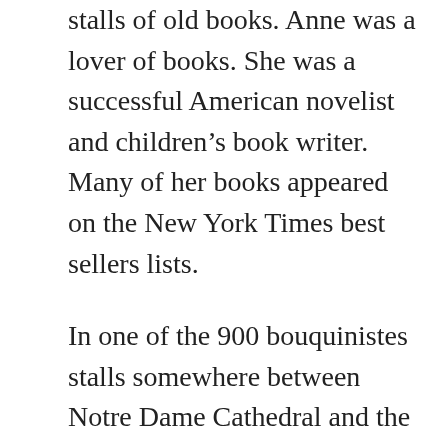stalls of old books. Anne was a lover of books. She was a successful American novelist and children's book writer. Many of her books appeared on the New York Times best sellers lists.
In one of the 900 bouquinistes stalls somewhere between Notre Dame Cathedral and the Louvre, Anne saw the cover of a familiar children's book which brought back memories from her own childhood. The book, “Jack Frost and Other Stories”, was worn from age but still in decent enough condition. It was a book like the one she had as a child in Colorado. Although she had never tried to seek the book out, she had never seen another copy. Her mind raced back some 30 years back in time to the Colorado Springs of her childhood. She glanced at the book for only a second or two and her mind was made up. She bought the book for a single